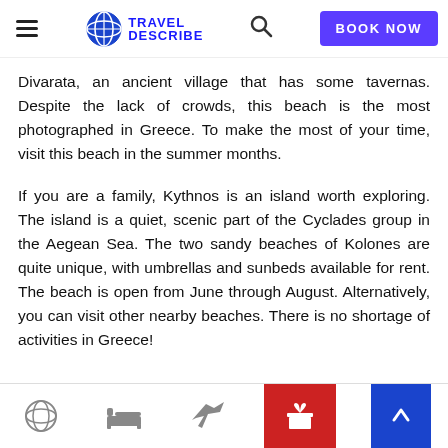TRAVEL DESCRIBE | BOOK NOW
Divarata, an ancient village that has some tavernas. Despite the lack of crowds, this beach is the most photographed in Greece. To make the most of your time, visit this beach in the summer months.
If you are a family, Kythnos is an island worth exploring. The island is a quiet, scenic part of the Cyclades group in the Aegean Sea. The two sandy beaches of Kolones are quite unique, with umbrellas and sunbeds available for rent. The beach is open from June through August. Alternatively, you can visit other nearby beaches. There is no shortage of activities in Greece!
Navigation icons: globe, bed, airplane, gift, scroll-up